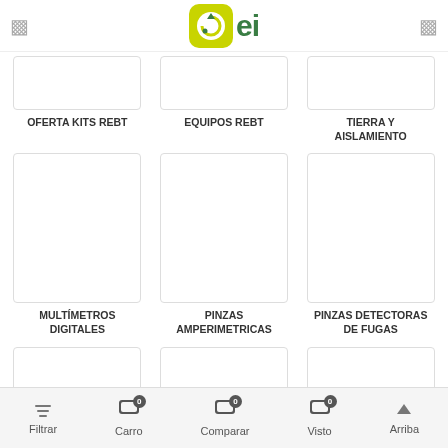ei logo header
OFERTA KITS REBT
EQUIPOS REBT
TIERRA Y AISLAMIENTO
[Figure (screenshot): Product image placeholder for MULTÍMETROS DIGITALES]
MULTÍMETROS DIGITALES
[Figure (screenshot): Product image placeholder for PINZAS AMPERIMETRICAS]
PINZAS AMPERIMETRICAS
[Figure (screenshot): Product image placeholder for PINZAS DETECTORAS DE FUGAS]
PINZAS DETECTORAS DE FUGAS
Filtrar  Carro 0  Comparar 0  Visto 0  Arriba